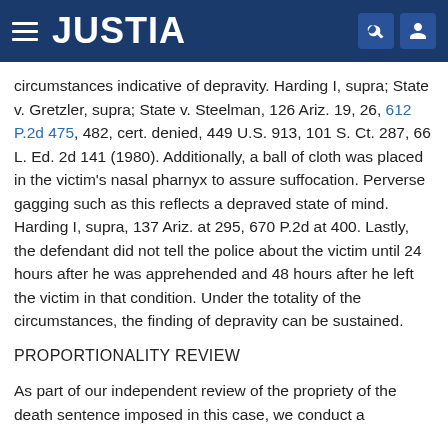JUSTIA
circumstances indicative of depravity. Harding I, supra; State v. Gretzler, supra; State v. Steelman, 126 Ariz. 19, 26, 612 P.2d 475, 482, cert. denied, 449 U.S. 913, 101 S. Ct. 287, 66 L. Ed. 2d 141 (1980). Additionally, a ball of cloth was placed in the victim's nasal pharnyx to assure suffocation. Perverse gagging such as this reflects a depraved state of mind. Harding I, supra, 137 Ariz. at 295, 670 P.2d at 400. Lastly, the defendant did not tell the police about the victim until 24 hours after he was apprehended and 48 hours after he left the victim in that condition. Under the totality of the circumstances, the finding of depravity can be sustained.
PROPORTIONALITY REVIEW
As part of our independent review of the propriety of the death sentence imposed in this case, we conduct a